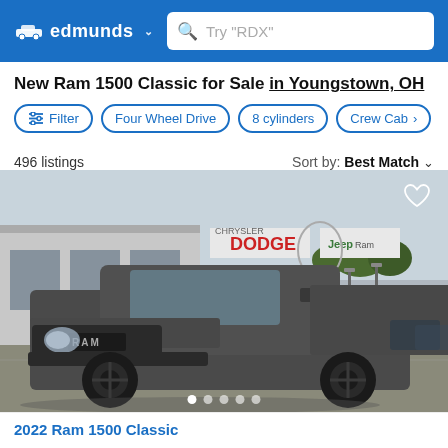edmunds | Try "RDX"
New Ram 1500 Classic for Sale in Youngstown, OH
Filter  Four Wheel Drive  8 cylinders  Crew Cab
496 listings   Sort by: Best Match
[Figure (photo): Photo of a gray Ram 1500 pickup truck parked in front of a Chrysler Dodge Jeep Ram dealership]
2022 Ram 1500 Classic ...